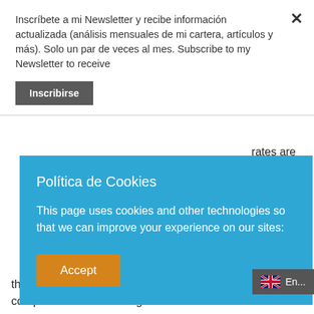Inscríbete a mi Newsletter y recibe información actualizada (análisis mensuales de mi cartera, artículos y más). Solo un par de veces al mes. Subscribe to my Newsletter to receive
Inscribirse
Política de Cookies
This page uses cookies and other technologies so that we can improve your experience on our sites:
Accept
rates are with vest only in % and in the case a complex e is not any doubts cisely. At the end, too many defaults that don't ge compensated with the higher returns
En...